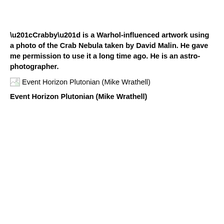“Crabby” is a Warhol-influenced artwork using a photo of the Crab Nebula taken by David Malin. He gave me permission to use it a long time ago. He is an astro-photographer.
[Figure (illustration): Broken image placeholder icon followed by text: Event Horizon Plutonian (Mike Wrathell)]
Event Horizon Plutonian (Mike Wrathell)